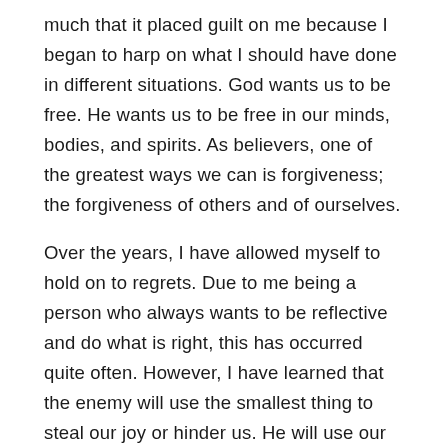much that it placed guilt on me because I began to harp on what I should have done in different situations. God wants us to be free. He wants us to be free in our minds, bodies, and spirits. As believers, one of the greatest ways we can is forgiveness; the forgiveness of others and of ourselves.
Over the years, I have allowed myself to hold on to regrets. Due to me being a person who always wants to be reflective and do what is right, this has occurred quite often. However, I have learned that the enemy will use the smallest thing to steal our joy or hinder us. He will use our care and concern. He will use our love and loyalty. He will use whatever he can to get us off of the path God has us on. Therefore, we have to learn how to move forward when unfavorable situations in our lives occur. Romans 8:1 says there is no more